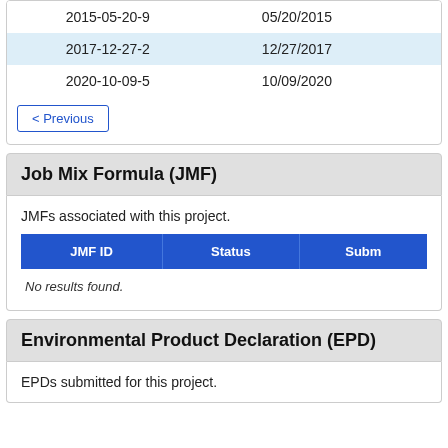|  |  |
| --- | --- |
| 2015-05-20-9 | 05/20/2015 |
| 2017-12-27-2 | 12/27/2017 |
| 2020-10-09-5 | 10/09/2020 |
< Previous
Job Mix Formula (JMF)
JMFs associated with this project.
| JMF ID | Status | Subm... |
| --- | --- | --- |
No results found.
Environmental Product Declaration (EPD)
EPDs submitted for this project.